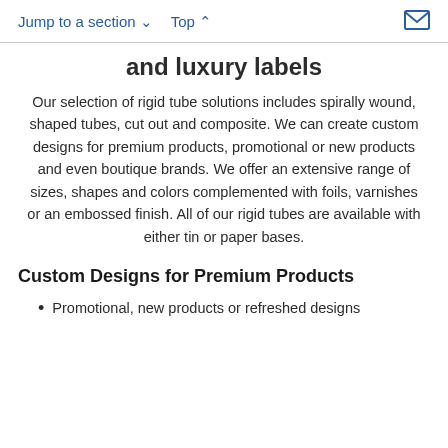Jump to a section ∨   Top ∧
and luxury labels
Our selection of rigid tube solutions includes spirally wound, shaped tubes, cut out and composite. We can create custom designs for premium products, promotional or new products and even boutique brands. We offer an extensive range of sizes, shapes and colors complemented with foils, varnishes or an embossed finish. All of our rigid tubes are available with either tin or paper bases.
Custom Designs for Premium Products
Promotional, new products or refreshed designs